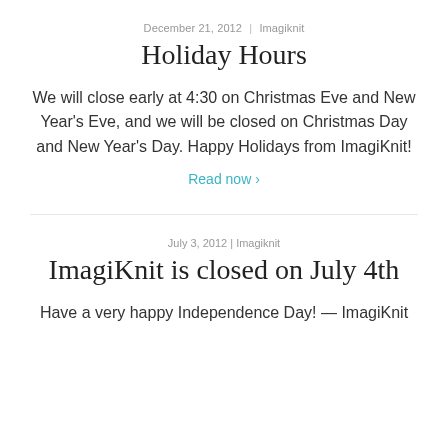December 21, 2012 | Imagiknit
Holiday Hours
We will close early at 4:30 on Christmas Eve and New Year’s Eve, and we will be closed on Christmas Day and New Year’s Day. Happy Holidays from ImagiKnit!
Read now ›
July 3, 2012 | Imagiknit
ImagiKnit is closed on July 4th
Have a very happy Independence Day! — ImagiKnit